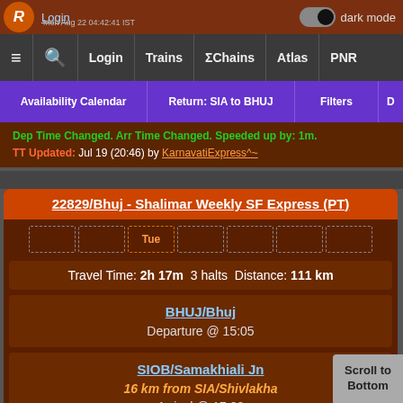Login | dark mode | Mon Aug 22 04:42:41 IST
≡ 🔍 Login | Trains | ΣChains | Atlas | PNR
Availability Calendar | Return: SIA to BHUJ | Filters | D
Dep Time Changed. Arr Time Changed. Speeded up by: 1m. TT Updated: Jul 19 (20:46) by KarnavatiExpress^~
22829/Bhuj - Shalimar Weekly SF Express (PT)
Tue
Travel Time: 2h 17m  3 halts  Distance: 111 km
BHUJ/Bhuj
Departure @ 15:05
SIOB/Samakhiali Jn
16 km from SIA/Shivlakha
Arrival @ 17:22
Scroll to Bottom